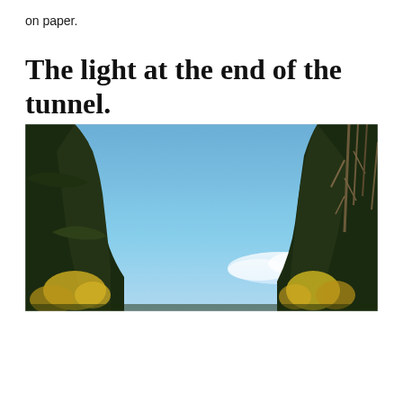on paper.
The light at the end of the tunnel.
[Figure (photo): Outdoor upward-looking photograph showing tall dark conifer trees on the left and right sides framing a wide blue sky with a small white cloud in the lower right. Yellow-green foliage visible at the bottom edges of the trees.]